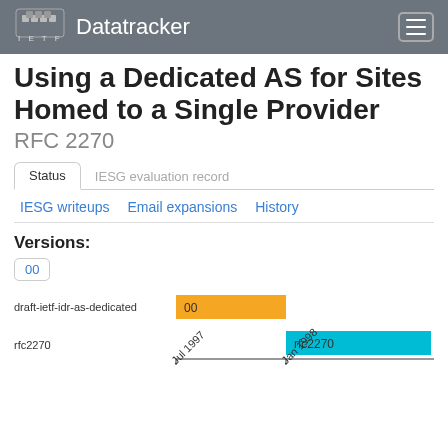IETF Datatracker
Using a Dedicated AS for Sites Homed to a Single Provider
RFC 2270
Status | IESG evaluation record
IESG writeups | Email expansions | History
Versions:
00
[Figure (bar-chart): Document versions timeline]